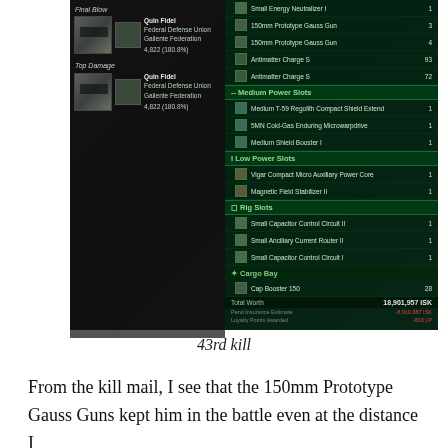[Figure (screenshot): EVE Online game UI screenshot showing a kill mail. Left panel shows 'Final Blow' and 'Top Damage' sections with player 'Quin Fidel' from Federal Defense Union / Gallente Federation, score 4,822 (180.8%). Right panel shows ship fitting: High Power Slots with Small Energy Neutralizer I, 150mm Prototype Gauss Gun x2, Antimatter Charge S x93, Antimatter Charge S x72; Medium Power Slots with Medium T-59 Regolith Compact Shield Extender, 5MN Cold-Gas Enduring Microwarpdrive, Medium Shield Booster I; Low Power Slots with Vigar Compact Micro Auxiliary Power Core, Magnetic Field Stabilizer II; Rig Slots with Small Capacitor Control Circuit II, Small Ancillary Current Router II, Small Capacitor Control Circuit I; Cargo Bay with Cap Booster 150 x28. Total Worth: 18,901,957 ISK. Pend Insurance Estimate: -8,910,887 ISK. Loyalty Points Awarded: -803 LP.]
43rd kill
From the kill mail, I see that the 150mm Prototype Gauss Guns kept him in the battle even at the distance I